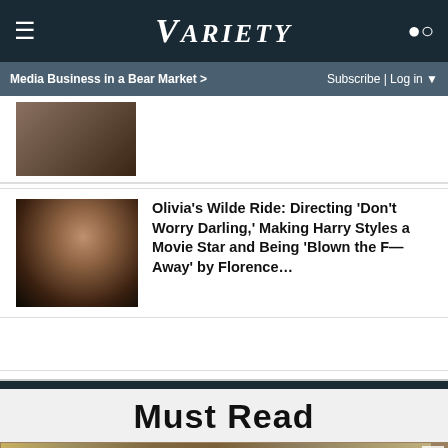VARIETY
Media Business in a Bear Market >   Subscribe | Log in ▼
[Figure (photo): Partial thumbnail of an article image at top]
Olivia's Wilde Ride: Directing 'Don't Worry Darling,' Making Harry Styles a Movie Star and Being 'Blown the F— Away' by Florence...
Must Read
[Figure (photo): Aerial/overhead photo of military vehicles or trucks in desert terrain]
[Figure (other): Advertisement: Book a Same Day Appointment - Hair Cuttery with HC logo and navigation arrow icon]